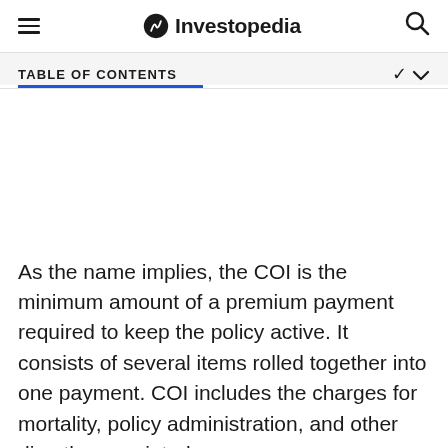Investopedia
TABLE OF CONTENTS
As the name implies, the COI is the minimum amount of a premium payment required to keep the policy active. It consists of several items rolled together into one payment. COI includes the charges for mortality, policy administration, and other directly associated